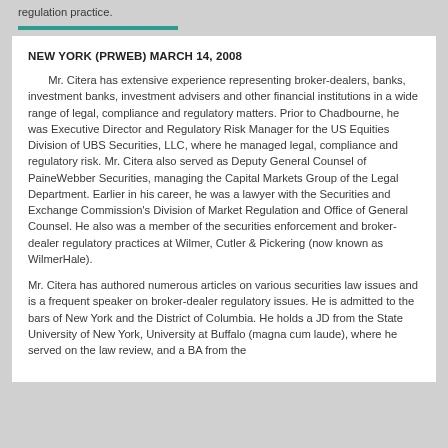regulation practice.
NEW YORK (PRWEB) MARCH 14, 2008
Mr. Citera has extensive experience representing broker-dealers, banks, investment banks, investment advisers and other financial institutions in a wide range of legal, compliance and regulatory matters. Prior to Chadbourne, he was Executive Director and Regulatory Risk Manager for the US Equities Division of UBS Securities, LLC, where he managed legal, compliance and regulatory risk. Mr. Citera also served as Deputy General Counsel of PaineWebber Securities, managing the Capital Markets Group of the Legal Department. Earlier in his career, he was a lawyer with the Securities and Exchange Commission's Division of Market Regulation and Office of General Counsel. He also was a member of the securities enforcement and broker-dealer regulatory practices at Wilmer, Cutler & Pickering (now known as WilmerHale).
Mr. Citera has authored numerous articles on various securities law issues and is a frequent speaker on broker-dealer regulatory issues. He is admitted to the bars of New York and the District of Columbia. He holds a JD from the State University of New York, University at Buffalo (magna cum laude), where he served on the law review, and a BA from the